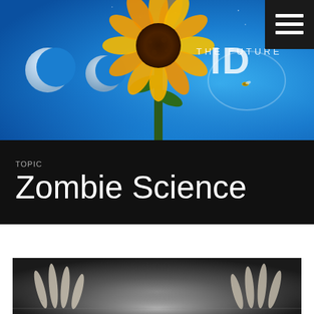[Figure (photo): Banner image with blue sky background featuring a sunflower, two crescent moons on the left, and 'ID THE FUTURE' text logo on the right, with a dark hamburger menu icon in the top-right corner]
TOPIC
Zombie Science
[Figure (photo): Dark grayscale image showing skeletal or zombie hands/fingers reaching up from below, with dramatic lighting from center]